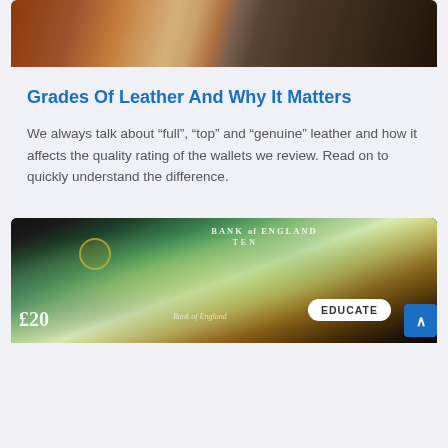[Figure (photo): Close-up photo of leather textures in brown and dark grey/black tones]
Grades Of Leather And Why It Matters
We always talk about “full”, “top” and “genuine” leather and how it affects the quality rating of the wallets we review. Read on to quickly understand the difference.
[Figure (photo): Photo of British pound notes including a £20 note and £10 Bank of England note, with an EDUCATE badge overlay and a blue scroll-to-top button]